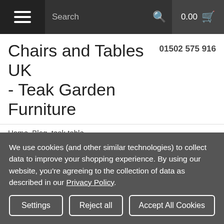Search | 0.00
Chairs and Tables UK - Teak Garden Furniture
01502 575 916
Home Blog teak table
Blog - teak table x
Autumn is the best time of year for contemplation,
We use cookies (and other similar technologies) to collect data to improve your shopping experience. By using our website, you're agreeing to the collection of data as described in our Privacy Policy.
Settings | Reject all | Accept All Cookies